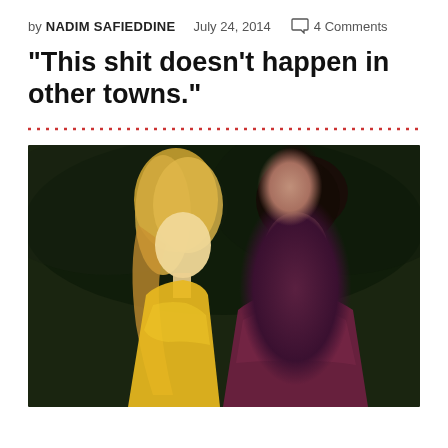by NADIM SAFIEDDINE   July 24, 2014   4 Comments
"This shit doesn't happen in other towns."
[Figure (photo): Two people facing each other: a blonde woman in a yellow sleeveless top on the left, and a dark-haired man in a maroon/purple shirt on the right, with a dark green background.]